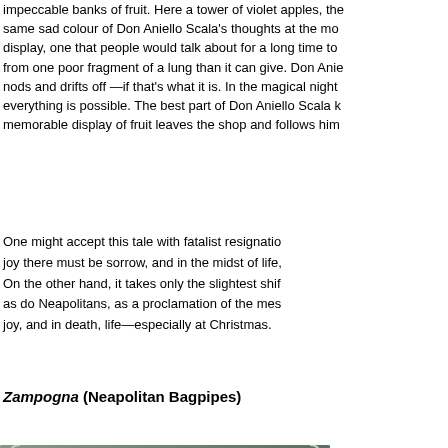impeccable banks of fruit. Here a tower of violet apples, the same sad colour of Don Aniello Scala's thoughts at the moment display, one that people would talk about for a long time to from one poor fragment of a lung than it can give. Don Anie nods and drifts off —if that's what it is. In the magical night everything is possible. The best part of Don Aniello Scala k memorable display of fruit leaves the shop and follows him
One might accept this tale with fatalist resignation joy there must be sorrow, and in the midst of life, On the other hand, it takes only the slightest shift as do Neapolitans, as a proclamation of the mes joy, and in death, life—especially at Christmas.
Zampogna (Neapolitan Bagpipes)
[Figure (photo): Ceramic or sculpted figurine depicting two people, one standing adult male in brown coat with hand raised, and one seated smaller figure, beside a wooden post or instrument stand. Background is gray-green gradient.]
To s disc o'er batt —q pop the dev attri org inst and "tre